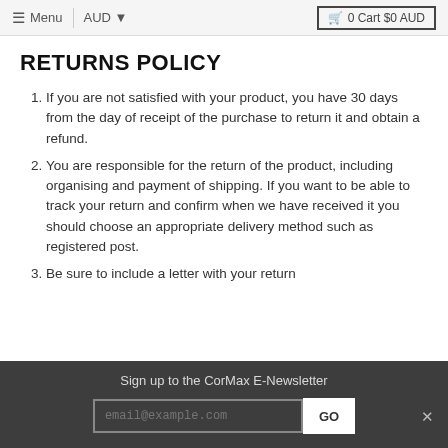≡ Menu  |  AUD ▾    🛒 0 Cart $0 AUD
RETURNS POLICY
If you are not satisfied with your product, you have 30 days from the day of receipt of the purchase to return it and obtain a refund.
You are responsible for the return of the product, including organising and payment of shipping. If you want to be able to track your return and confirm when we have received it you should choose an appropriate delivery method such as registered post.
Be sure to include a letter with your return
Sign up to the CorMax E-Newsletter  email@example.com  GO  ×